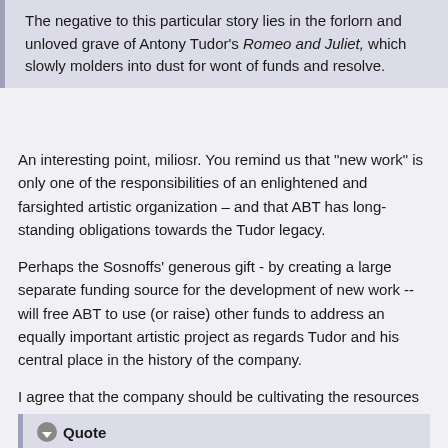The negative to this particular story lies in the forlorn and unloved grave of Antony Tudor's Romeo and Juliet, which slowly molders into dust for wont of funds and resolve.
An interesting point, miliosr. You remind us that "new work" is only one of the responsibilities of an enlightened and farsighted artistic organization -- and that ABT has long-standing obligations towards the Tudor legacy.
Perhaps the Sosnoffs' generous gift - by creating a large separate funding source for the development of new work -- will free ABT to use (or raise) other funds to address an equally important artistic project as regards Tudor and his central place in the history of the company.
I agree that the company should be cultivating the resources needed to accomplish both sets of tasks.
Regarding "new work": BT member abatt has just posted the following on the ABT Met Season 2009 thread:
Quote